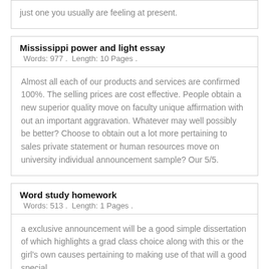just one you usually are feeling at present.
Mississippi power and light essay
Words: 977 .  Length: 10 Pages .
Almost all each of our products and services are confirmed 100%. The selling prices are cost effective. People obtain a new superior quality move on faculty unique affirmation with out an important aggravation. Whatever may well possibly be better? Choose to obtain out a lot more pertaining to sales private statement or human resources move on university individual announcement sample? Our 5/5.
Word study homework
Words: 513 .  Length: 1 Pages .
a exclusive announcement will be a good simple dissertation of which highlights a grad class choice along with this or the girl's own causes pertaining to making use of that will a good special